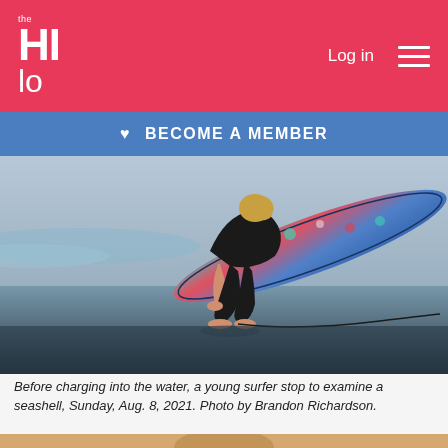the HI lo — Log in / hamburger menu
♥ BECOME A MEMBER
[Figure (photo): A young surfer crouching on wet sand at the beach, carrying a colorful patterned surfboard, examining something on the ground. The ocean and shoreline are visible in the background. Photo taken Sunday, Aug. 8, 2021 by Brandon Richardson.]
Before charging into the water, a young surfer stop to examine a seashell, Sunday, Aug. 8, 2021. Photo by Brandon Richardson.
[Figure (photo): Partial view of a second beach photo at the bottom of the page.]